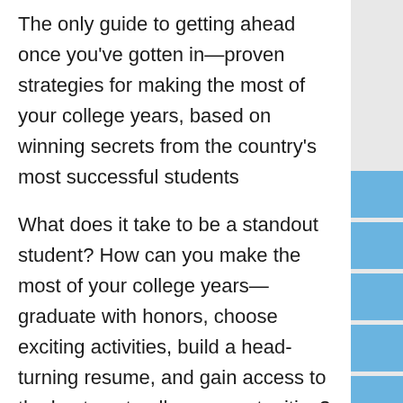The only guide to getting ahead once you've gotten in—proven strategies for making the most of your college years, based on winning secrets from the country's most successful students
What does it take to be a standout student? How can you make the most of your college years—graduate with honors, choose exciting activities, build a head-turning resume, and gain access to the best post-college opportunities? Based on interviews with star students at universities nationwide, from Harvard to the University of Arizona,